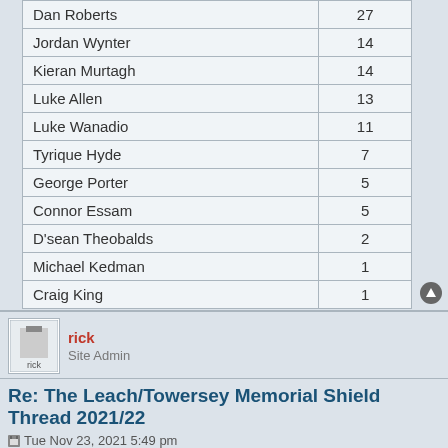| Dan Roberts | 27 |
| Jordan Wynter | 14 |
| Kieran Murtagh | 14 |
| Luke Allen | 13 |
| Luke Wanadio | 11 |
| Tyrique Hyde | 7 |
| George Porter | 5 |
| Connor Essam | 5 |
| D'sean Theobalds | 2 |
| Michael Kedman | 1 |
| Craig King | 1 |
rick
Site Admin
Re: The Leach/Towersey Memorial Shield Thread 2021/22
Tue Nov 23, 2021 5:49 pm
Leach/Towersey Memorial Shield up to and including Hemel (A)
3 Man of the Match
| Jernade Meade | 92 |
| Danny Leonard | 65 |